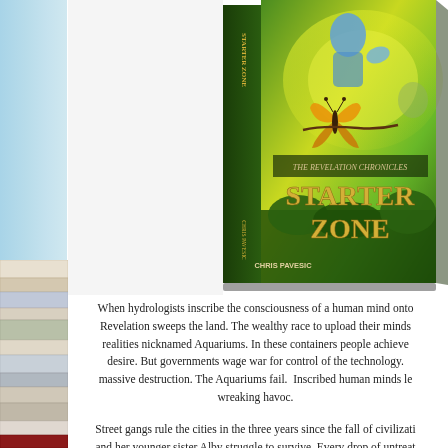[Figure (illustration): Book cover for 'Starter Zone' by Chris Pavesic, part of The Revelation Chronicles series. Green fantasy cover with a blue-skinned figure, butterfly, and mystical forest background. Shown as a 3D book with spine visible.]
When hydrologists inscribe the consciousness of a human mind onto... Revelation sweeps the land. The wealthy race to upload their minds realities nicknamed Aquariums. In these containers people achieve desire. But governments wage war for control of the technology. massive destruction. The Aquariums fail. Inscribed human minds le wreaking havoc.
Street gangs rule the cities in the three years since the fall of civilizati and her younger sister Alby struggle to survive. Every drop of untreat peril. Caught and imprisoned by soldiers who plan to sell them int anything to escape and rescue her sister. Even if it means leaving th